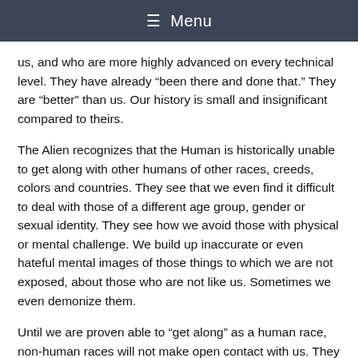☰ Menu
us, and who are more highly advanced on every technical level. They have already “been there and done that.” They are “better” than us. Our history is small and insignificant compared to theirs.
The Alien recognizes that the Human is historically unable to get along with other humans of other races, creeds, colors and countries. They see that we even find it difficult to deal with those of a different age group, gender or sexual identity. They see how we avoid those with physical or mental challenge. We build up inaccurate or even hateful mental images of those things to which we are not exposed, about those who are not like us. Sometimes we even demonize them.
Until we are proven able to “get along” as a human race, non-human races will not make open contact with us. They see that humans still cannot even